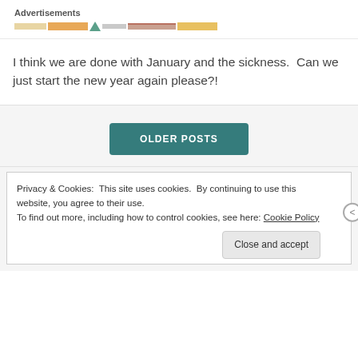[Figure (other): Advertisement banner with label 'Advertisements' and a colorful horizontal bar graphic below it]
I think we are done with January and the sickness.  Can we just start the new year again please?!
OLDER POSTS
Privacy & Cookies:  This site uses cookies.  By continuing to use this website, you agree to their use.
To find out more, including how to control cookies, see here: Cookie Policy
Close and accept